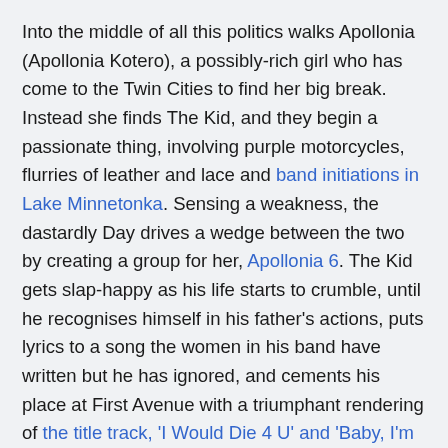Into the middle of all this politics walks Apollonia (Apollonia Kotero), a possibly-rich girl who has come to the Twin Cities to find her big break. Instead she finds The Kid, and they begin a passionate thing, involving purple motorcycles, flurries of leather and lace and band initiations in Lake Minnetonka. Sensing a weakness, the dastardly Day drives a wedge between the two by creating a group for her, Apollonia 6. The Kid gets slap-happy as his life starts to crumble, until he recognises himself in his father's actions, puts lyrics to a song the women in his band have written but he has ignored, and cements his place at First Avenue with a triumphant rendering of the title track, 'I Would Die 4 U' and 'Baby, I'm A Star'.